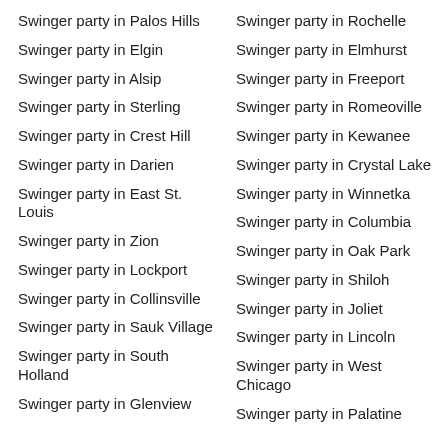Swinger party in Palos Hills
Swinger party in Elgin
Swinger party in Alsip
Swinger party in Sterling
Swinger party in Crest Hill
Swinger party in Darien
Swinger party in East St. Louis
Swinger party in Zion
Swinger party in Lockport
Swinger party in Collinsville
Swinger party in Sauk Village
Swinger party in South Holland
Swinger party in Glenview
Swinger party in Rochelle
Swinger party in Elmhurst
Swinger party in Freeport
Swinger party in Romeoville
Swinger party in Kewanee
Swinger party in Crystal Lake
Swinger party in Winnetka
Swinger party in Columbia
Swinger party in Oak Park
Swinger party in Shiloh
Swinger party in Joliet
Swinger party in Lincoln
Swinger party in West Chicago
Swinger party in Palatine